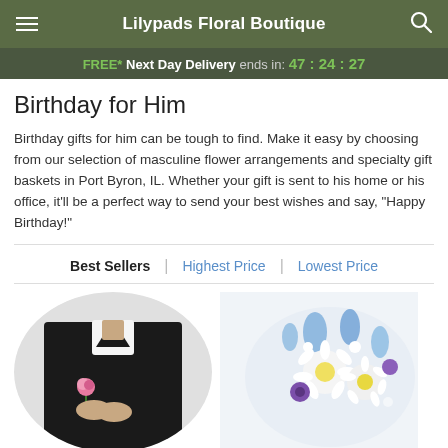Lilypads Floral Boutique
FREE* Next Day Delivery ends in: 47:24:27
Birthday for Him
Birthday gifts for him can be tough to find. Make it easy by choosing from our selection of masculine flower arrangements and specialty gift baskets in Port Byron, IL. Whether your gift is sent to his home or his office, it'll be a perfect way to send your best wishes and say, "Happy Birthday!"
Best Sellers | Highest Price | Lowest Price
[Figure (photo): Person in black shirt holding a pink rose boutonniere]
[Figure (photo): Blue and white flower arrangement with daisies and purple accents]